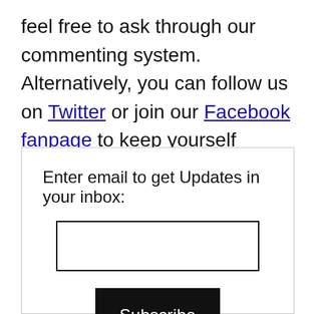feel free to ask through our commenting system. Alternatively, you can follow us on Twitter or join our Facebook fanpage to keep yourself updated.
Enter email to get Updates in your inbox: